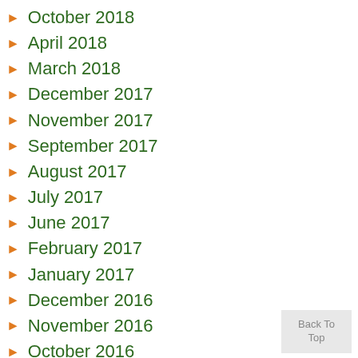October 2018
April 2018
March 2018
December 2017
November 2017
September 2017
August 2017
July 2017
June 2017
February 2017
January 2017
December 2016
November 2016
October 2016
September 2016
Back To Top